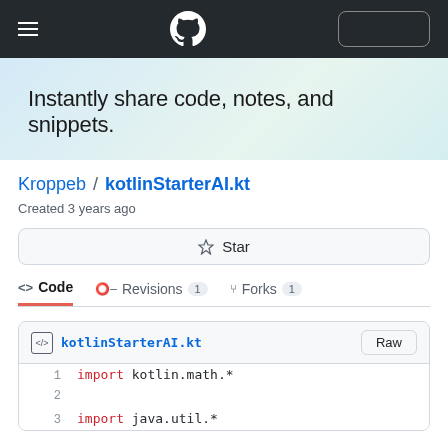GitHub navigation bar with hamburger menu, GitHub logo, and sign-in button
Instantly share code, notes, and snippets.
Kroppeb / kotlinStarterAI.kt
Created 3 years ago
Star
<> Code   Revisions 1   Forks 1
kotlinStarterAI.kt   Raw
1   import kotlin.math.*
2
3   import java.util.*